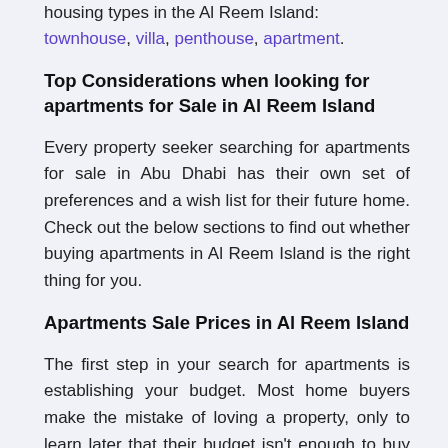housing types in the Al Reem Island: townhouse, villa, penthouse, apartment.
Top Considerations when looking for apartments for Sale in Al Reem Island
Every property seeker searching for apartments for sale in Abu Dhabi has their own set of preferences and a wish list for their future home. Check out the below sections to find out whether buying apartments in Al Reem Island is the right thing for you.
Apartments Sale Prices in Al Reem Island
The first step in your search for apartments is establishing your budget. Most home buyers make the mistake of loving a property, only to learn later that their budget isn't enough to buy it.
Houza is the first property portal in the UAE to